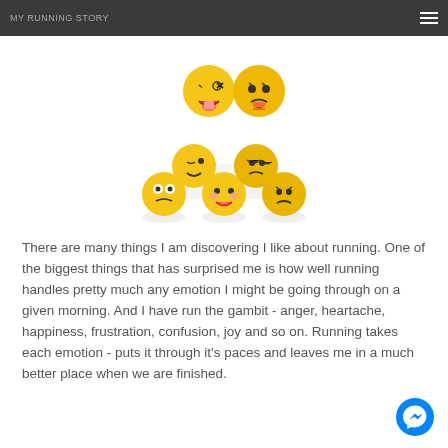MY RUNNING STORY
[Figure (illustration): A pyramid arrangement of yellow emoji smiley faces showing various emotions including laughing, angry, happy, confused, winking, and surprised expressions.]
There are many things I am discovering I like about running. One of the biggest things that has surprised me is how well running handles pretty much any emotion I might be going through on a given morning. And I have run the gambit - anger, heartache, happiness, frustration, confusion, joy and so on. Running takes each emotion - puts it through it's paces and leaves me in a much better place when we are finished.